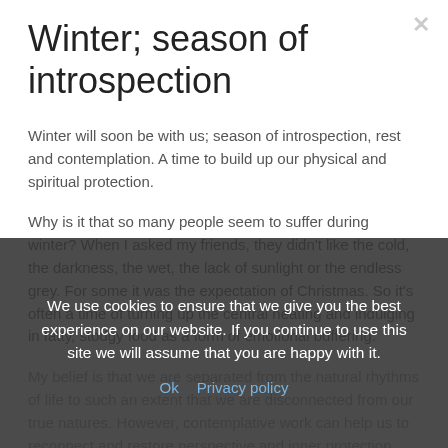Winter; season of introspection
Winter will soon be with us; season of introspection, rest and contemplation. A time to build up our physical and spiritual protection.
Why is it that so many people seem to suffer during winter? When I asked my friends, they didn't like the cold, the darkness, the wet, the lack of sunlight or the endless grey. For some it was the expectation of Christmas. So it's often a time of turning up the central heating and indulging in fatty, stodgy food as a form of emotional buffering.
My belief is that we are separated from the natural rhythms of life to such an extent that we are disconnected from our true natures. However, contemplative work can help us to reconnect and restore perspective and inner protection.
Rhythms of nature
We use cookies to ensure that we give you the best experience on our website. If you continue to use this site we will assume that you are happy with it.